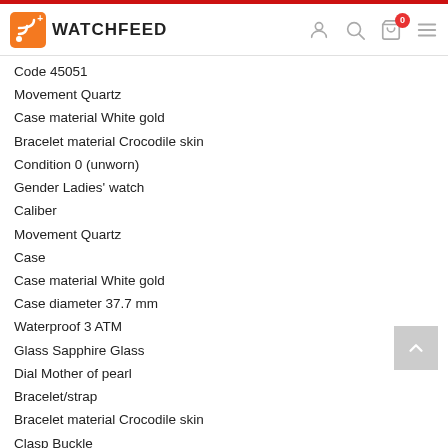WATCHFEED
Code 45051
Movement Quartz
Case material White gold
Bracelet material Crocodile skin
Condition 0 (unworn)
Gender Ladies' watch
Caliber
Movement Quartz
Case
Case material White gold
Case diameter 37.7 mm
Waterproof 3 ATM
Glass Sapphire Glass
Dial Mother of pearl
Bracelet/strap
Bracelet material Crocodile skin
Clasp Buckle
Clasp material White Gold